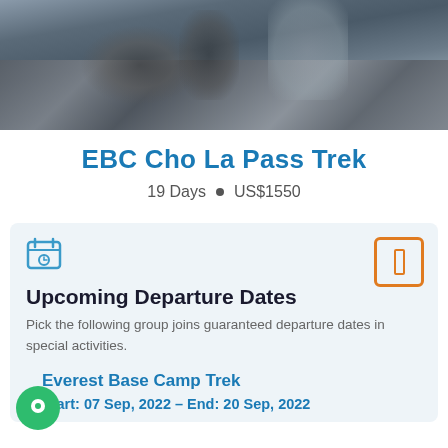[Figure (photo): A person sitting on rocky terrain with mountains/rocks in the background, trekking scene]
EBC Cho La Pass Trek
19 Days  •  US$1550
Upcoming Departure Dates
Pick the following group joins guaranteed departure dates in special activities.
Everest Base Camp Trek
Start: 07 Sep, 2022 – End: 20 Sep, 2022